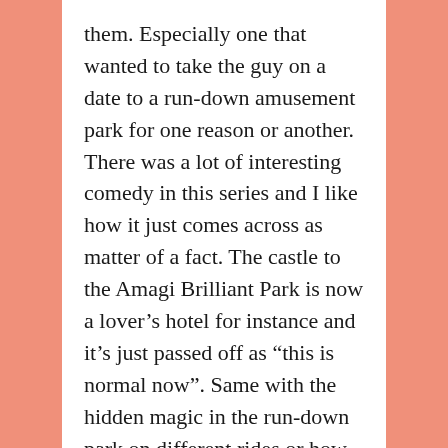them. Especially one that wanted to take the guy on a date to a run-down amusement park for one reason or another. There was a lot of interesting comedy in this series and I like how it just comes across as matter of a fact. The castle to the Amagi Brilliant Park is now a lover's hotel for instance and it's just passed off as “this is normal now”. Same with the hidden magic in the run-down park on different rides or how some rides are more extreme and broken down then others.
Even down to the reveal of our female leader's underwear where they didn't show it, just had someone else comment on it and had her blush. A more interesting way to go